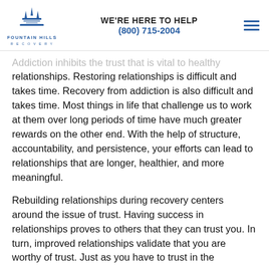WE'RE HERE TO HELP (800) 715-2004
Addiction inhibits the trust that is vital to healthy relationships. Restoring relationships is difficult and takes time. Recovery from addiction is also difficult and takes time. Most things in life that challenge us to work at them over long periods of time have much greater rewards on the other end. With the help of structure, accountability, and persistence, your efforts can lead to relationships that are longer, healthier, and more meaningful.
Rebuilding relationships during recovery centers around the issue of trust. Having success in relationships proves to others that they can trust you. In turn, improved relationships validate that you are worthy of trust. Just as you have to trust in the